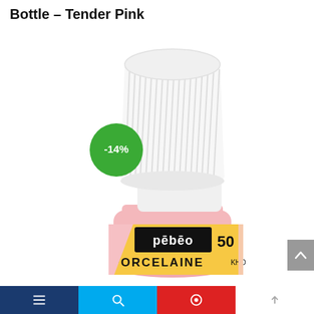Bottle – Tender Pink
[Figure (photo): A Pebeo Porcelaine 150 paint bottle with a white ribbed cap and pink body. The label shows 'pebeo PORCELAINE' and the number 50. A green circular badge shows -14% discount. A grey scroll-to-top arrow button is visible at the right edge.]
Navigation bar with icons